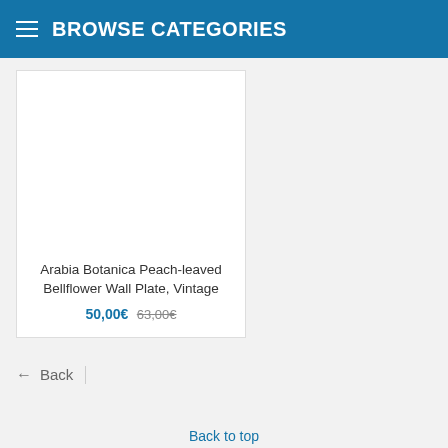BROWSE CATEGORIES
Arabia Botanica Peach-leaved Bellflower Wall Plate, Vintage
50,00€ 63,00€
← Back
Back to top